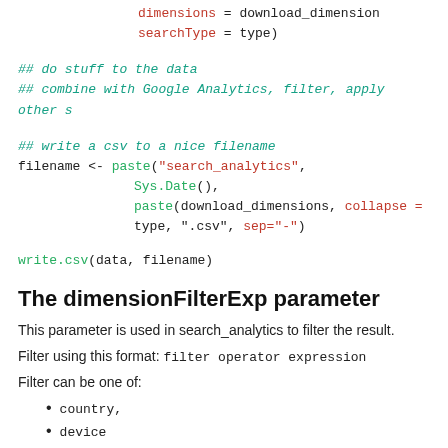dimensions = download_dimensions
    searchType = type)
## do stuff to the data
## combine with Google Analytics, filter, apply other s
## write a csv to a nice filename
filename <- paste("search_analytics",
                  Sys.Date(),
                  paste(download_dimensions, collapse =
                  type, ".csv", sep="-")
write.csv(data, filename)
The dimensionFilterExp parameter
This parameter is used in search_analytics to filter the result.
Filter using this format: filter operator expression
Filter can be one of:
country,
device
page
query